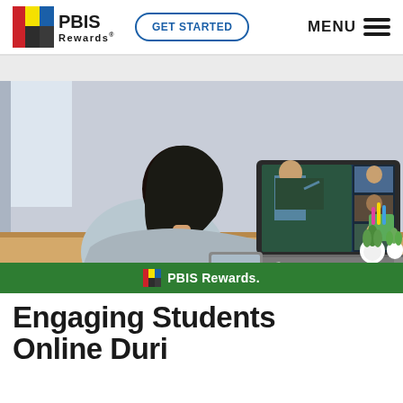PBIS Rewards | GET STARTED | MENU
[Figure (photo): A student viewed from behind sitting at a desk, writing notes while watching an online class on a laptop. The laptop screen shows a teacher pointing at a chalkboard with student video thumbnails on the right side. A green pencil holder, small succulent plants, and a tablet are on the desk. A green PBIS Rewards banner appears at the bottom of the image.]
Engaging Students Online Duri...